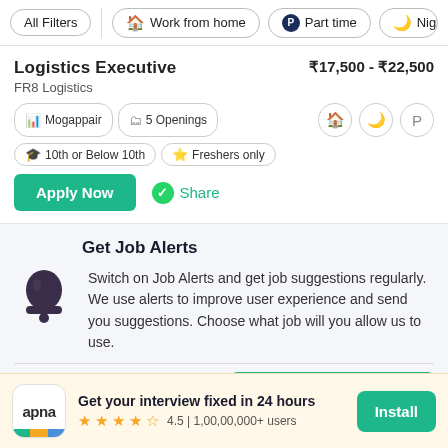All Filters | Work from home | Part time | Night Sh
Logistics Executive ₹17,500 - ₹22,500
FR8 Logistics
Mogappair | 5 Openings | 10th or Below 10th | Freshers only
Apply Now | Share
Get Job Alerts
Switch on Job Alerts and get job suggestions regularly. We use alerts to improve user experience and send you suggestions. Choose what job will you allow us to use.
Create Similar job alert
apna Get your interview fixed in 24 hours 4.5 | 1,00,00,000+ users Install